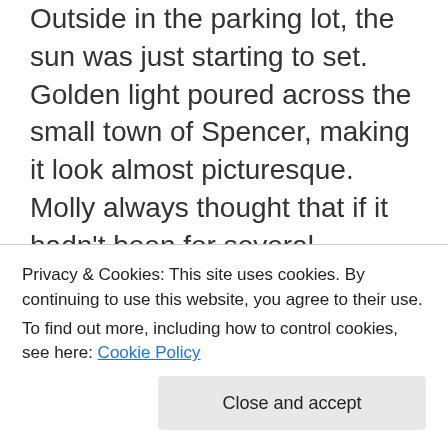Outside in the parking lot, the sun was just starting to set. Golden light poured across the small town of Spencer, making it look almost picturesque. Molly always thought that if it hadn't been for several dilapidated, abandoned buildings along Main Street and the empty shoe factory on the edge of town, her hometown could be mistaken for one of those quaint villages in a Hallmark movie.
Many of the homes were well maintained, fairly new siding, matching shutters, the stereotypical
Privacy & Cookies: This site uses cookies. By continuing to use this website, you agree to their use.
To find out more, including how to control cookies, see here: Cookie Policy
tracks and well out of view of most visitors, who